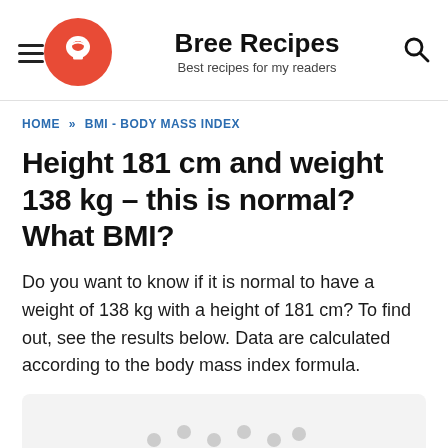Bree Recipes – Best recipes for my readers
HOME » BMI - BODY MASS INDEX
Height 181 cm and weight 138 kg – this is normal? What BMI?
Do you want to know if it is normal to have a weight of 138 kg with a height of 181 cm? To find out, see the results below. Data are calculated according to the body mass index formula.
[Figure (other): Partially visible content box at bottom of page]